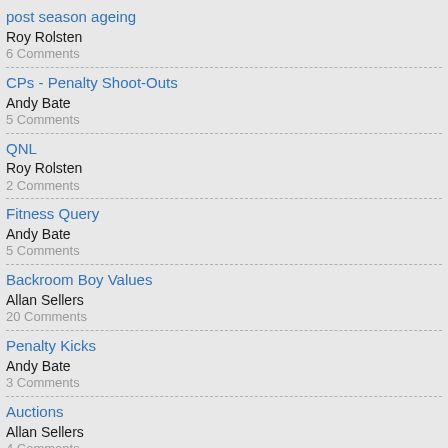post season ageing
Roy Rolsten
6 Comments
CPs - Penalty Shoot-Outs
Andy Bate
5 Comments
QNL
Roy Rolsten
2 Comments
Fitness Query
Andy Bate
5 Comments
Backroom Boy Values
Allan Sellers
20 Comments
Penalty Kicks
Andy Bate
3 Comments
Auctions
Allan Sellers
4 Comments
Match Previews...
Allan Sellers
3 Comments